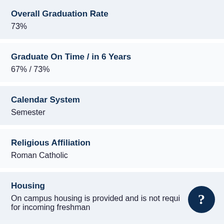Overall Graduation Rate
73%
Graduate On Time / in 6 Years
67% / 73%
Calendar System
Semester
Religious Affiliation
Roman Catholic
Housing
On campus housing is provided and is not required for incoming freshman